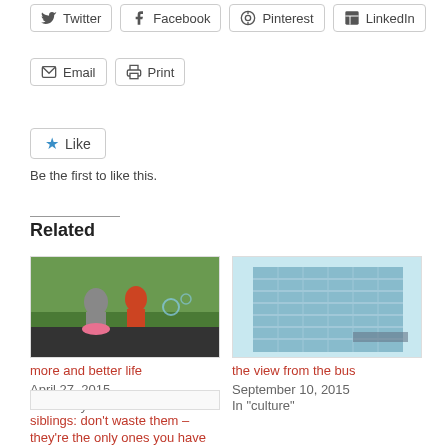Twitter
Facebook
Pinterest
LinkedIn
Email
Print
Like
Be the first to like this.
Related
[Figure (photo): Two children playing outdoors on a driveway with grass in the background]
more and better life
April 27, 2015
In "Family"
[Figure (photo): Glass office building exterior photographed from below against a light sky]
the view from the bus
September 10, 2015
In "culture"
siblings: don't waste them – they're the only ones you have